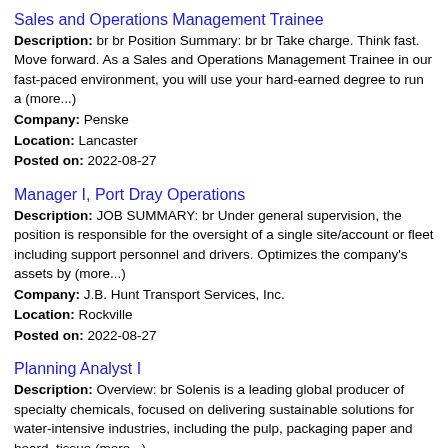Sales and Operations Management Trainee
Description: br br Position Summary: br br Take charge. Think fast. Move forward. As a Sales and Operations Management Trainee in our fast-paced environment, you will use your hard-earned degree to run a (more...)
Company: Penske
Location: Lancaster
Posted on: 2022-08-27
Manager I, Port Dray Operations
Description: JOB SUMMARY: br Under general supervision, the position is responsible for the oversight of a single site/account or fleet including support personnel and drivers. Optimizes the company's assets by (more...)
Company: J.B. Hunt Transport Services, Inc.
Location: Rockville
Posted on: 2022-08-27
Planning Analyst I
Description: Overview: br Solenis is a leading global producer of specialty chemicals, focused on delivering sustainable solutions for water-intensive industries, including the pulp, packaging paper and board, tissue (more...)
Company: Solenis LLC
Location: Wilmington
Posted on: 2022-09-01